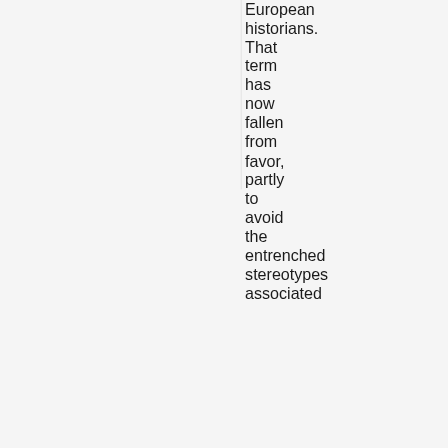European historians. That term has now fallen from favor, partly to avoid the entrenched stereotypes associated